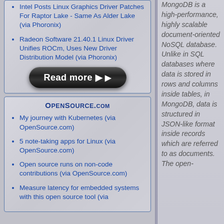Intel Posts Linux Graphics Driver Patches For Raptor Lake - Same As Alder Lake (via Phoronix)
Radeon Software 21.40.1 Linux Driver Unifies ROCm, Uses New Driver Distribution Model (via Phoronix)
[Figure (other): Black pill-shaped 'Read more ▶' button]
OpenSource.com
My journey with Kubernetes (via OpenSource.com)
5 note-taking apps for Linux (via OpenSource.com)
Open source runs on non-code contributions (via OpenSource.com)
Measure latency for embedded systems with this open source tool (via
MongoDB is a high-performance, highly scalable document-oriented NoSQL database. Unlike in SQL databases where data is stored in rows and columns inside tables, in MongoDB, data is structured in JSON-like format inside records which are referred to as documents. The open-